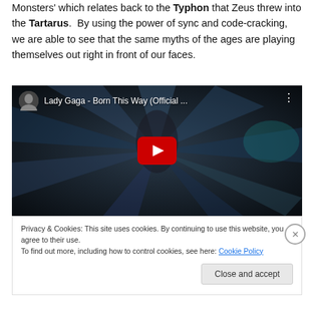Monsters' which relates back to the Typhon that Zeus threw into the Tartarus.  By using the power of sync and code-cracking, we are able to see that the same myths of the ages are playing themselves out right in front of our faces.
[Figure (screenshot): YouTube video embed showing Lady Gaga - Born This Way (Official ...) with a dark thumbnail showing Lady Gaga with radiating light rays, and a red YouTube play button in the center.]
Privacy & Cookies: This site uses cookies. By continuing to use this website, you agree to their use.
To find out more, including how to control cookies, see here: Cookie Policy